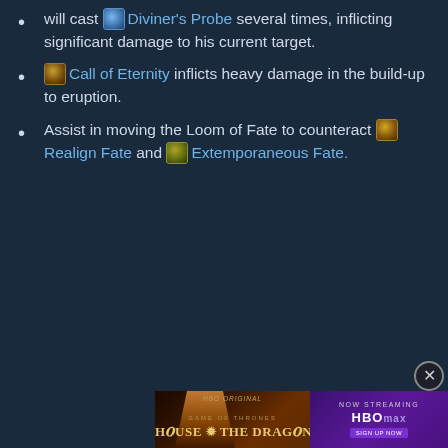will cast [icon] Diviner's Probe several times, inflicting significant damage to his current target.
[icon] Call of Eternity inflicts heavy damage in the build-up to eruption.
Assist in moving the Loom of Fate to counteract [icon] Realign Fate and [icon] Extemporaneous Fate.
[Figure (screenshot): Advertisement banner for HBO Original Game of Thrones: House of the Dragon, Now Streaming on HBOmax]